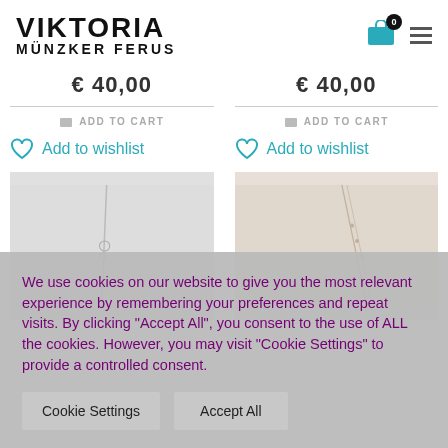[Figure (logo): Viktoria Münzker Ferus brand logo in bold black text]
€ 40,00
€ 40,00
ADD TO CART
ADD TO CART
Add to wishlist
Add to wishlist
[Figure (photo): Jewelry necklace product image, left column]
[Figure (photo): Jewelry necklace product image, right column]
We use cookies on our website to give you the most relevant experience by remembering your preferences and repeat visits. By clicking "Accept All", you consent to the use of ALL the cookies. However, you may visit "Cookie Settings" to provide a controlled consent.